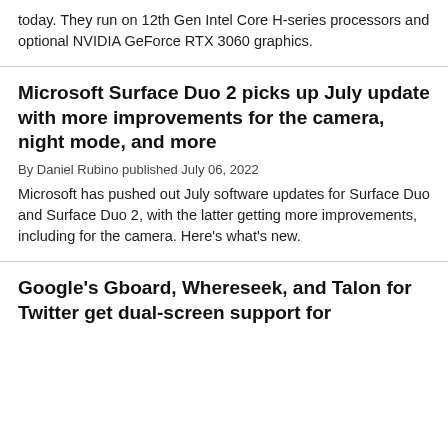today. They run on 12th Gen Intel Core H-series processors and optional NVIDIA GeForce RTX 3060 graphics.
Microsoft Surface Duo 2 picks up July update with more improvements for the camera, night mode, and more
By Daniel Rubino published July 06, 2022
Microsoft has pushed out July software updates for Surface Duo and Surface Duo 2, with the latter getting more improvements, including for the camera. Here's what's new.
Google's Gboard, Whereseek, and Talon for Twitter get dual-screen support for